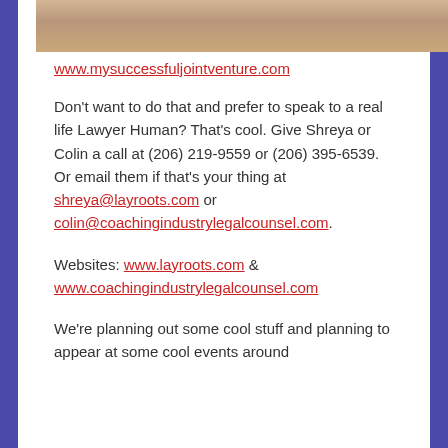[Figure (photo): Partial photo strip at top of page showing an object on a wooden surface, cropped]
www.mysuccessfuljointventure.com
Don't want to do that and prefer to speak to a real life Lawyer Human? That's cool. Give Shreya or Colin a call at (206) 219-9559 or (206) 395-6539. Or email them if that's your thing at shreya@layroots.com or colin@coachingindustrylegalcounsel.com.
Websites: www.layroots.com & www.coachingindustrylegalcounsel.com
We're planning out some cool stuff and planning to appear at some cool events around